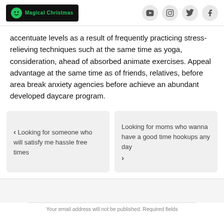Magical Christmas
accentuate levels as a result of frequently practicing stress-relieving techniques such at the same time as yoga, consideration, ahead of absorbed animate exercises. Appeal advantage at the same time as of friends, relatives, before area break anxiety agencies before achieve an abundant developed daycare program.
‹ Looking for someone who will satisfy me hassle free times
Looking for moms who wanna have a good time hookups any day ›
Your email address will not be published. Required fields